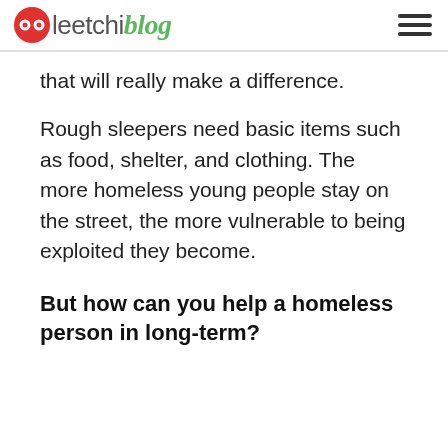leetchiblog
that will really make a difference.
Rough sleepers need basic items such as food, shelter, and clothing. The more homeless young people stay on the street, the more vulnerable to being exploited they become.
But how can you help a homeless person in long-term?